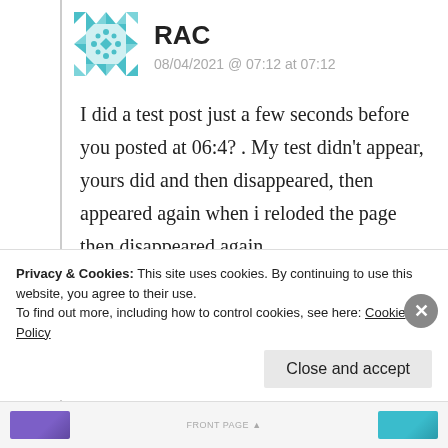[Figure (illustration): Teal geometric/diamond patterned avatar icon for user RAC]
RAC
08/04/2021 @ 07:12 at 07:12
I did a test post just a few seconds before you posted at 06:4? . My test didn't appear, yours did and then disappeared, then appeared again when i reloded the page then disappeared again.
The red not allowed to vote banner is back again also
Privacy & Cookies: This site uses cookies. By continuing to use this website, you agree to their use.
To find out more, including how to control cookies, see here: Cookie Policy
Close and accept